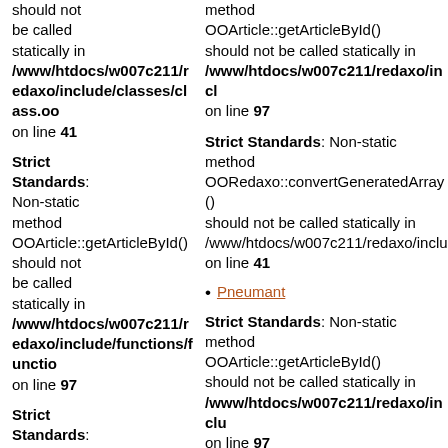should not be called statically in /www/htdocs/w007c211/redaxo/include/classes/class.oo on line 41
method OOArticle::getArticleById() should not be called statically in /www/htdocs/w007c211/redaxo/incl on line 97
Strict Standards: Non-static method OOArticle::getArticleById() should not be called statically in /www/htdocs/w007c211/redaxo/includ on line 97
Strict Standards: Non-static method OORedaxo::convertGeneratedArray() should not be called statically in /www/htdocs/w007c211/redaxo/inclu on line 41
Pneumant
Strict Standards: Non-static method OOArticle::getArticleById() should not be called statically in /www/htdocs/w007c211/redaxo/inclu on line 97
Strict Standards: Non-static method OORedaxo::convertGeneratedArray() should not be called statically in /www/htdocs/w007c211/redaxo on line 97
Strict Standards: Non-static method OOArticle::getArticleById() should not be called statically in on line 97
Strict Standards: Non-static method